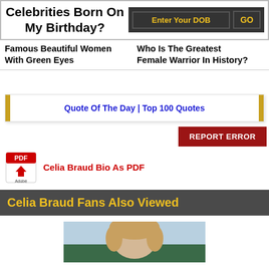Celebrities Born On My Birthday?
Enter Your DOB | GO
Famous Beautiful Women With Green Eyes
Who Is The Greatest Female Warrior In History?
Quote Of The Day | Top 100 Quotes
REPORT ERROR
Celia Braud Bio As PDF
Celia Braud Fans Also Viewed
[Figure (photo): Photo of a person with blonde/light hair outdoors against green foliage background]